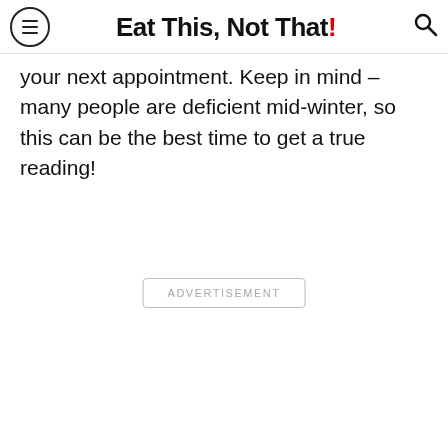Eat This, Not That!
your next appointment. Keep in mind – many people are deficient mid-winter, so this can be the best time to get a true reading!
ADVERTISEMENT